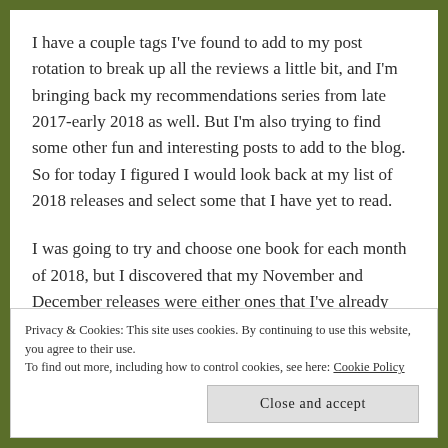I have a couple tags I've found to add to my post rotation to break up all the reviews a little bit, and I'm bringing back my recommendations series from late 2017-early 2018 as well. But I'm also trying to find some other fun and interesting posts to add to the blog. So for today I figured I would look back at my list of 2018 releases and select some that I have yet to read.
I was going to try and choose one book for each month of 2018, but I discovered that my November and December releases were either ones that I've already read...or they're ones where I'm behind on the series so I'm not sure that...
Privacy & Cookies: This site uses cookies. By continuing to use this website, you agree to their use.
To find out more, including how to control cookies, see here: Cookie Policy
Close and accept